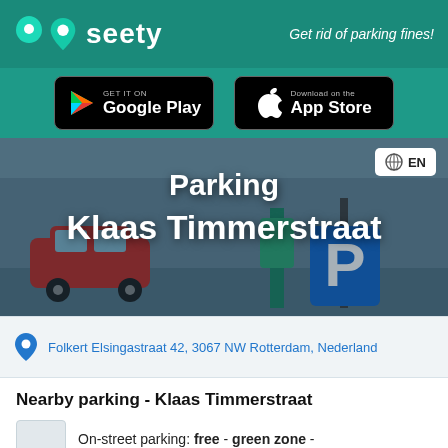seety — Get rid of parking fines!
[Figure (logo): Seety logo with teal map pin icon and wordmark 'seety' in white on teal background. Tagline: 'Get rid of parking fines!']
[Figure (screenshot): Google Play and App Store download buttons on dark teal background]
[Figure (photo): Hero image showing parking area with red car and parking sign. Overlaid text: 'Parking Klaas Timmerstraat'. EN language button in top right.]
Folkert Elsingastraat 42, 3067 NW Rotterdam, Nederland
Nearby parking - Klaas Timmerstraat
On-street parking: free - green zone -